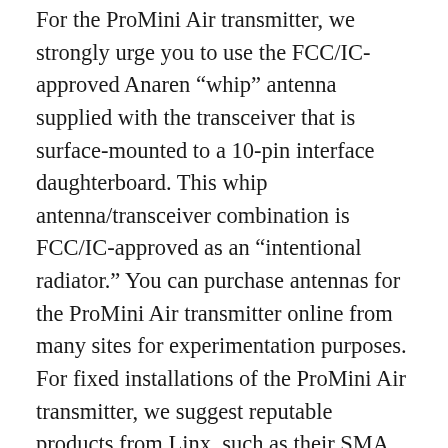For the ProMini Air transmitter, we strongly urge you to use the FCC/IC-approved Anaren “whip” antenna supplied with the transceiver that is surface-mounted to a 10-pin interface daughterboard. This whip antenna/transceiver combination is FCC/IC-approved as an “intentional radiator.” You can purchase antennas for the ProMini Air transmitter online from many sites for experimentation purposes. For fixed installations of the ProMini Air transmitter, we suggest reputable products from Linx, such as their SMA one-half wave antennas with an internal counterpoise. You can find these antennas at Digi-Key, e.g., ANT-916-OC-LG-SMA ($10.55) and ANT-916-CW-HWR-SMA ($12.85). The former antenna has a slightly better gain (and Digi-Key part Digi-Key part...